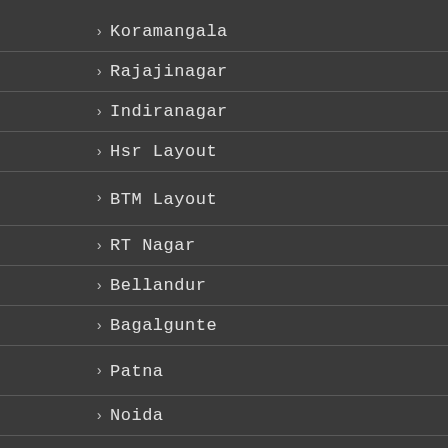Koramangala
Rajajinagar
Indiranagar
Hsr Layout
BTM Layout
RT Nagar
Bellandur
Bagalgunte
Patna
Noida
Pune